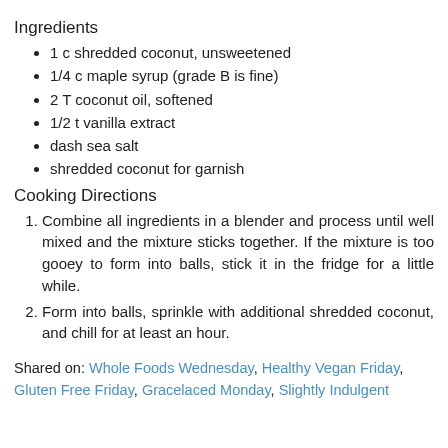Ingredients
1 c shredded coconut, unsweetened
1/4 c maple syrup (grade B is fine)
2 T coconut oil, softened
1/2 t vanilla extract
dash sea salt
shredded coconut for garnish
Cooking Directions
Combine all ingredients in a blender and process until well mixed and the mixture sticks together. If the mixture is too gooey to form into balls, stick it in the fridge for a little while.
Form into balls, sprinkle with additional shredded coconut, and chill for at least an hour.
Shared on: Whole Foods Wednesday, Healthy Vegan Friday, Gluten Free Friday, Gracelaced Monday, Slightly Indulgent